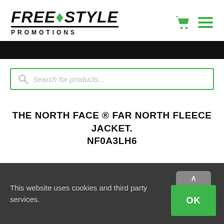[Figure (logo): Free-Style Promotions logo with green diamond dot between FREE and STYLE, italic bold text, underline, and PROMOTIONS subtitle in spaced caps]
[Figure (other): Green shopping cart icon and green hamburger menu icon in the top right navigation]
[Figure (other): Black navigation/decorative bar spanning full width]
Search for products...
THE NORTH FACE ® FAR NORTH FLEECE JACKET. NF0A3LH6
This website uses cookies and third party services.